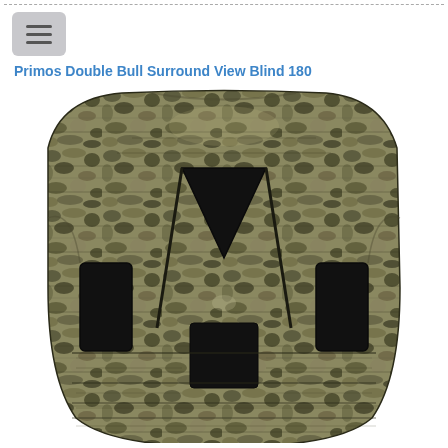Primos Double Bull Surround View Blind 180
[Figure (photo): Front view of the Primos Double Bull Surround View Blind 180, a camouflage hunting blind with a mossy oak pattern. The blind is roughly rectangular with rounded edges and features a large triangular open window at the top center, two rectangular side windows on the left and right, and a lower center opening. The fabric is covered in a realistic bark/mossy oak camouflage pattern in shades of olive, tan, black, and gray.]